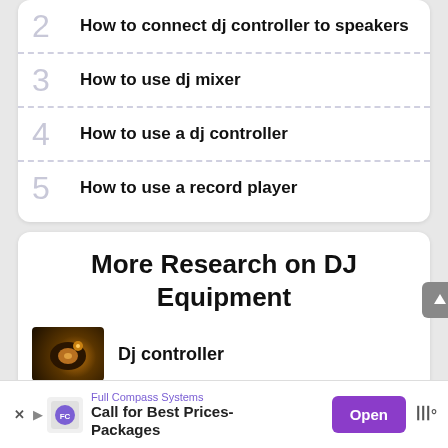2 How to connect dj controller to speakers
3 How to use dj mixer
4 How to use a dj controller
5 How to use a record player
More Research on DJ Equipment
Dj controller
Full Compass Systems
Call for Best Prices- Packages